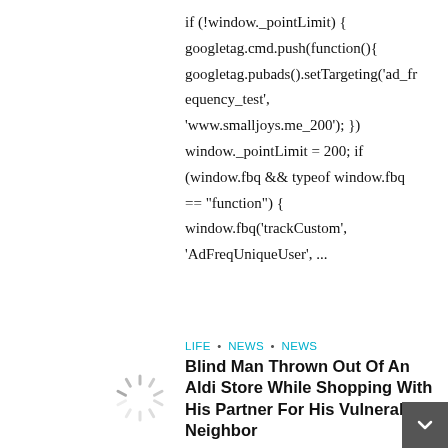if (!window._pointLimit) { googletag.cmd.push(function(){ googletag.pubads().setTargeting('ad_frequency_test', 'www.smalljoys.me_200'); }) window._pointLimit = 200; if (window.fbq && typeof window.fbq == "function") { window.fbq('trackCustom', 'AdFreqUniqueUser', ...
[Figure (other): Loading spinner icon]
LIFE · NEWS · NEWS
Blind Man Thrown Out Of An Aldi Store While Shopping With His Partner For His Vulnerable Neighbor